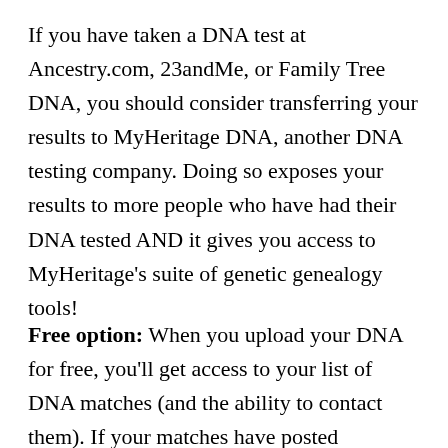If you have taken a DNA test at Ancestry.com, 23andMe, or Family Tree DNA, you should consider transferring your results to MyHeritage DNA, another DNA testing company. Doing so exposes your results to more people who have had their DNA tested AND it gives you access to MyHeritage's suite of genetic genealogy tools!
Free option: When you upload your DNA for free, you'll get access to your list of DNA matches (and the ability to contact them). If your matches have posted ancestral surnames you share, you'll see a list of those,